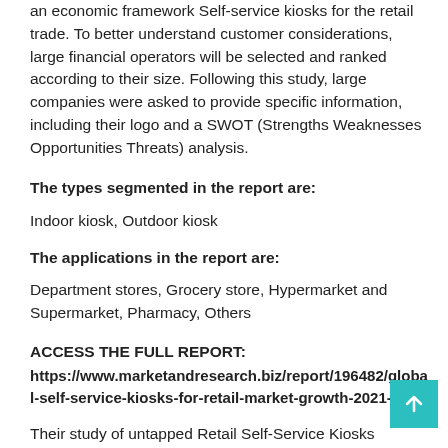an economic framework Self-service kiosks for the retail trade. To better understand customer considerations, large financial operators will be selected and ranked according to their size. Following this study, large companies were asked to provide specific information, including their logo and a SWOT (Strengths Weaknesses Opportunities Threats) analysis.
The types segmented in the report are:
Indoor kiosk, Outdoor kiosk
The applications in the report are:
Department stores, Grocery store, Hypermarket and Supermarket, Pharmacy, Others
ACCESS THE FULL REPORT:
https://www.marketandresearch.biz/report/196482/global-self-service-kiosks-for-retail-market-growth-2021-2026
Their study of untapped Retail Self-Service Kiosks markets